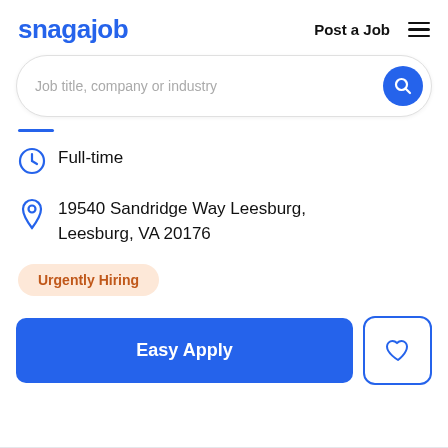snagajob   Post a Job
Job title, company or industry
Full-time
19540 Sandridge Way Leesburg, Leesburg, VA 20176
Urgently Hiring
Easy Apply